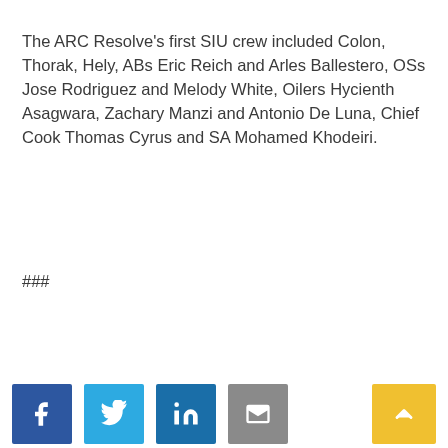The ARC Resolve's first SIU crew included Colon, Thorak, Hely, ABs Eric Reich and Arles Ballestero, OSs Jose Rodriguez and Melody White, Oilers Hycienth Asagwara, Zachary Manzi and Antonio De Luna, Chief Cook Thomas Cyrus and SA Mohamed Khodeiri.
###
[Figure (other): Social media sharing buttons: Facebook (blue), Twitter (light blue), LinkedIn (dark blue), Email (gray), and a yellow scroll-to-top arrow button on the right.]